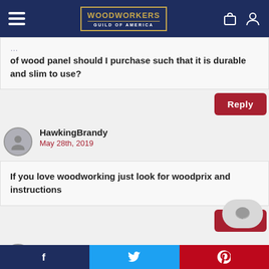Woodworkers Guild of America
of wood panel should I purchase such that it is durable and slim to use?
Reply
HawkingBrandy
May 28th, 2019
If you love woodworking just look for woodprix and instructions
Reply
xavior
May 29th, 2019
f  [Twitter bird]  p